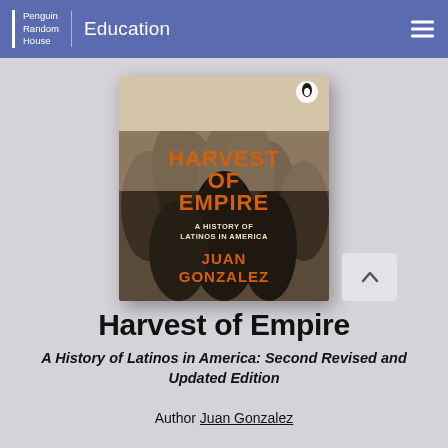Penguin Random House | Education
[Figure (illustration): Book cover of 'Harvest of Empire: A History of Latinos in America' by Juan Gonzalez. Black and white photograph of people with orange bold text overlay reading 'HARVEST OF EMPIRE' and subtitle 'A HISTORY OF LATINOS IN AMERICA' and author name 'JUAN GONZALEZ'. Penguin Books logo at top right.]
Harvest of Empire
A History of Latinos in America: Second Revised and Updated Edition
Author Juan Gonzalez